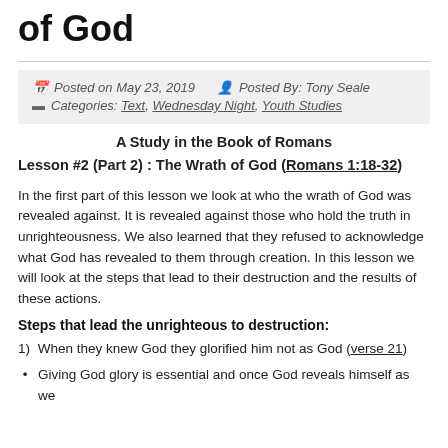of God
Posted on May 23, 2019   Posted By: Tony Seale
Categories: Text, Wednesday Night, Youth Studies
A Study in the Book of Romans
Lesson #2 (Part 2) : The Wrath of God (Romans 1:18-32)
In the first part of this lesson we look at who the wrath of God was revealed against. It is revealed against those who hold the truth in unrighteousness. We also learned that they refused to acknowledge what God has revealed to them through creation. In this lesson we will look at the steps that lead to their destruction and the results of these actions.
Steps that lead the unrighteous to destruction:
1)  When they knew God they glorified him not as God (verse 21)
Giving God glory is essential and once God reveals himself as we